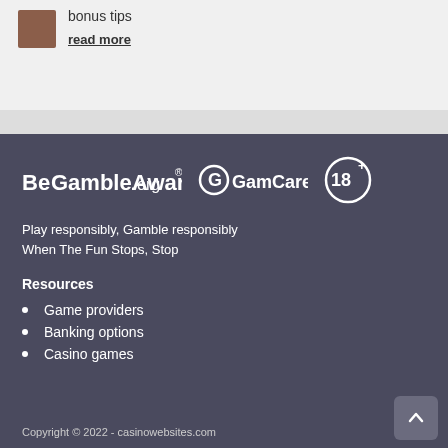bonus tips
read more
[Figure (logo): BeGambleAware.org logo, GamCare logo, 18+ logo]
Play responsibly, Gamble responsibly
When The Fun Stops, Stop
Resources
Game providers
Banking options
Casino games
Copyright © 2022 - casinowebsites.com